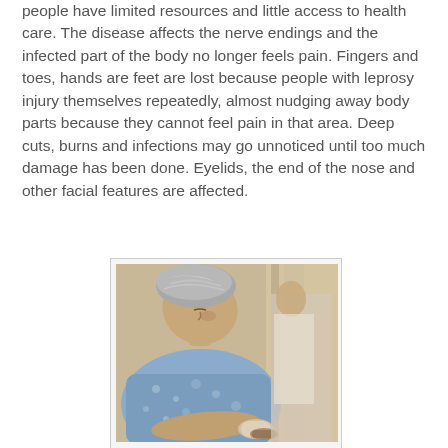people have limited resources and little access to health care. The disease affects the nerve endings and the infected part of the body no longer feels pain. Fingers and toes, hands are feet are lost because people with leprosy injury themselves repeatedly, almost nudging away body parts because they cannot feel pain in that area. Deep cuts, burns and infections may go unnoticed until too much damage has been done. Eyelids, the end of the nose and other facial features are affected.
[Figure (photo): An elderly person with leprosy, head bowed down, wearing a blue floral garment, with a visibly affected arm/hand resting on a surface. Another person partially visible in the background.]